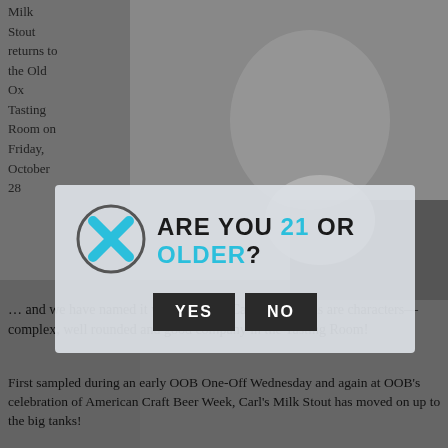[Figure (photo): Grayscale photo of a bald man holding a white bowl or plate, occupying the upper right portion of the page. Background is dark gray.]
Milk Stout returns to the Old Ox Tasting Room on Friday, October 28 … and we have named it what else? … Carl! Both Carls are characters—complex, well rounded and good company in the Tasting Room!
[Figure (infographic): Age verification modal overlay with an X close icon (teal/cyan colored X in a circle), bold uppercase text 'ARE YOU 21 OR OLDER?' with '21' and 'OLDER?' in cyan/teal, and two dark buttons labeled 'YES' and 'NO'.]
First sampled during an early OOB One-Off Wednesday and again at OOB's celebration of American Craft Beer Week, Carl's Milk Stout has moved on up to the big tanks!